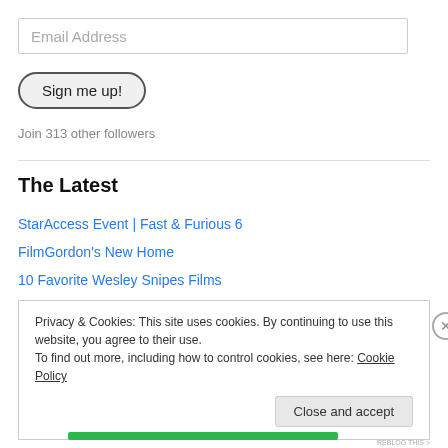Email Address
Sign me up!
Join 313 other followers
The Latest
StarAccess Event | Fast & Furious 6
FilmGordon's New Home
10 Favorite Wesley Snipes Films
Privacy & Cookies: This site uses cookies. By continuing to use this website, you agree to their use. To find out more, including how to control cookies, see here: Cookie Policy
Close and accept